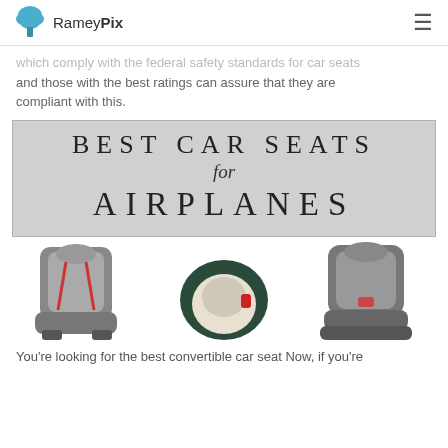RameyPix
which comply with the federal safety standards for car seats and those with the best ratings can assure that they are compliant with this.
[Figure (infographic): Gray banner graphic with text: BEST CAR SEATS for AIRPLANES in large serif/display lettering]
[Figure (photo): Three car seats side by side: a gray convertible car seat on left, a dark green/black rear-facing infant seat in center, and a gray booster/convertible seat on right]
You're looking for the best convertible car seat Now, if you're